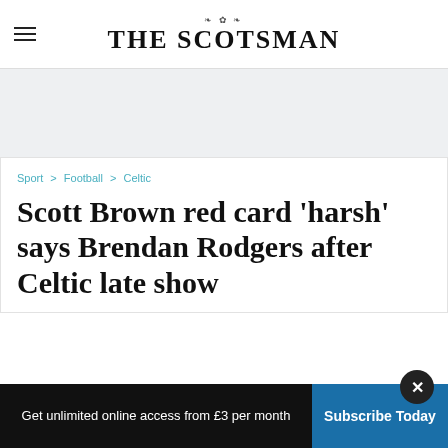THE SCOTSMAN
[Figure (other): Advertisement banner placeholder (light grey background)]
Sport > Football > Celtic
Scott Brown red card 'harsh' says Brendan Rodgers after Celtic late show
Get unlimited online access from £3 per month
Subscribe Today